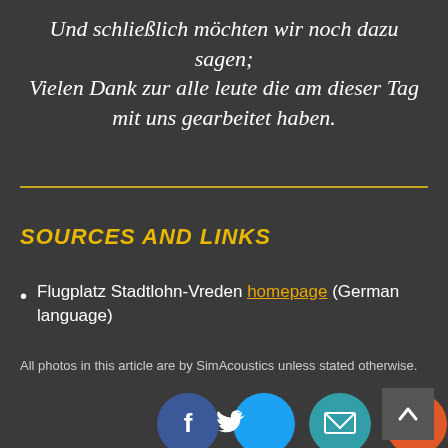Und schließlich möchten wir noch dazu sagen; Vielen Dank zur alle leute die am dieser Tag mit uns gearbeitet haben.
SOURCES AND LINKS
Flugplatz Stadtlohn-Vreden homepage (German language)
All photos in this article are by SimAcoustics unless stated otherwise.